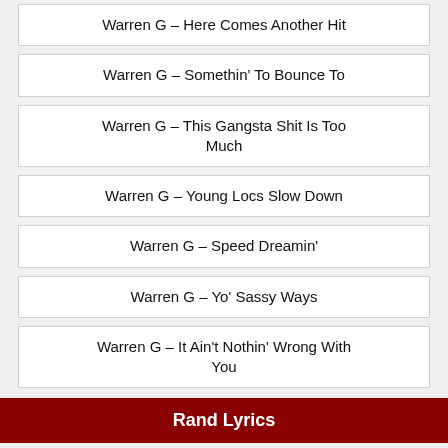Warren G – Here Comes Another Hit
Warren G – Somethin' To Bounce To
Warren G – This Gangsta Shit Is Too Much
Warren G – Young Locs Slow Down
Warren G – Speed Dreamin'
Warren G – Yo' Sassy Ways
Warren G – It Ain't Nothin' Wrong With You
Rand Lyrics
Freddie Mercury – Your Kind Of Lover
Freddie Mercury – Mr. Bad Guy